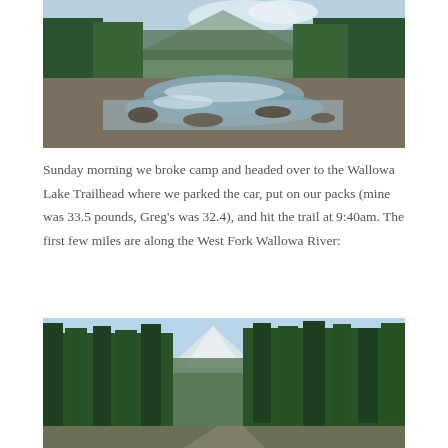[Figure (photo): A rocky mountain river flowing through a forest of tall evergreen trees, with a snowcapped mountain visible in the background under a partly cloudy sky.]
Sunday morning we broke camp and headed over to the Wallowa Lake Trailhead where we parked the car, put on our packs (mine was 33.5 pounds, Greg's was 32.4), and hit the trail at 9:40am. The first few miles are along the West Fork Wallowa River:
[Figure (photo): A view of tall evergreen trees along a trail with a snowcapped mountain peak visible in the background under a blue sky.]